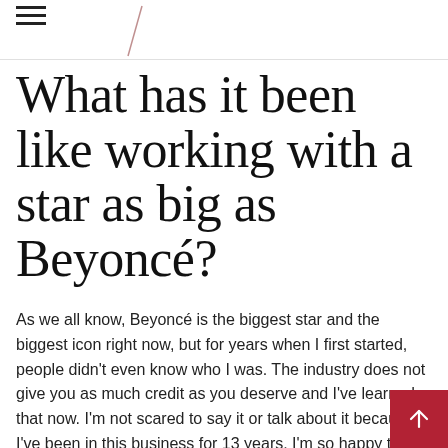≡ /
What has it been like working with a star as big as Beyoncé?
As we all know, Beyoncé is the biggest star and the biggest icon right now, but for years when I first started, people didn't even know who I was. The industry does not give you as much credit as you deserve and I've learned that now. I'm not scared to say it or talk about it because I've been in this business for 13 years. I'm so happy that I'm doing this story with you because young hairstylists like me who are Trinidadian, who are mixed, we don't get